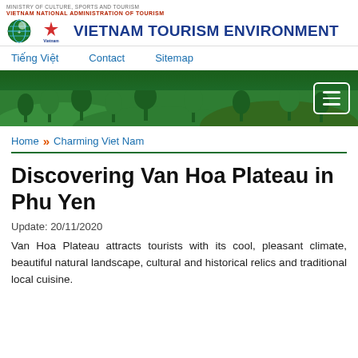MINISTRY OF CULTURE, SPORTS AND TOURISM
VIETNAM NATIONAL ADMINISTRATION OF TOURISM
VIETNAM TOURISM ENVIRONMENT
Tiếng Việt    Contact    Sitemap
[Figure (screenshot): Green navigation banner with landscape imagery and hamburger menu button]
Home >> Charming Viet Nam
Discovering Van Hoa Plateau in Phu Yen
Update: 20/11/2020
Van Hoa Plateau attracts tourists with its cool, pleasant climate, beautiful natural landscape, cultural and historical relics and traditional local cuisine.